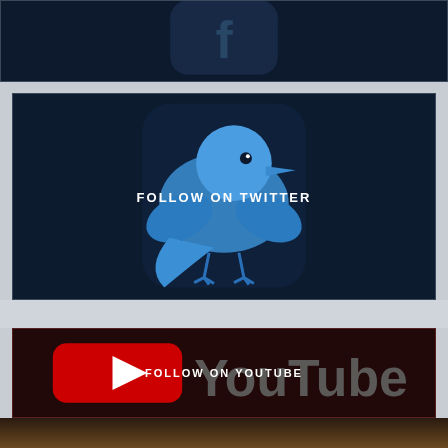[Figure (logo): Top dark blue banner with partial social media icon (Facebook-like icon partially visible at top)]
[Figure (illustration): Dark navy blue panel with large 3D Twitter bird logo centered, overlaid with white bold text 'FOLLOW ON TWITTER']
FOLLOW ON TWITTER
[Figure (logo): Dark burgundy/black panel with YouTube logo (red rectangle with white play button triangle and 'YouTube' text in gray), overlaid with white bold text 'FOLLOW ON YOUTUBE']
FOLLOW ON YOUTUBE